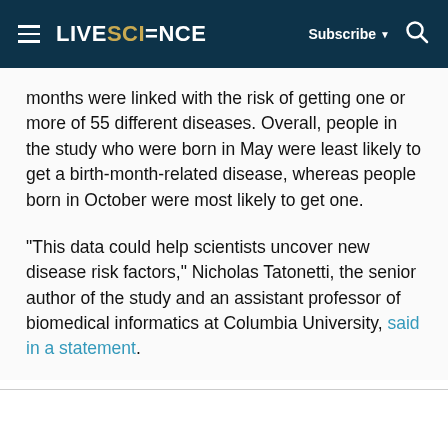LIVESCIENCE  Subscribe  [search icon]
months were linked with the risk of getting one or more of 55 different diseases. Overall, people in the study who were born in May were least likely to get a birth-month-related disease, whereas people born in October were most likely to get one.
"This data could help scientists uncover new disease risk factors," Nicholas Tatonetti, the senior author of the study and an assistant professor of biomedical informatics at Columbia University, said in a statement.